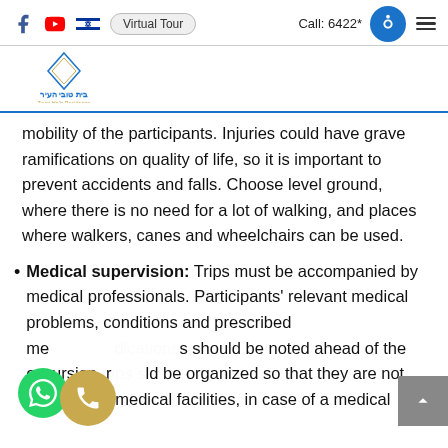Virtual Tour   Call: 6422*
[Figure (logo): Beit Tovei Ha'ir / Tovei Ha'ir Residence logo with diamond shape and Hebrew text]
mobility of the participants. Injuries could have grave ramifications on quality of life, so it is important to prevent accidents and falls. Choose level ground, where there is no need for a lot of walking, and places where walkers, canes and wheelchairs can be used.
Medical supervision: Trips must be accompanied by medical professionals. Participants' relevant medical problems, conditions and prescribed medications should be noted ahead of the excursion. Trips should be organized so that they are not too far from medical facilities, in case of a medical